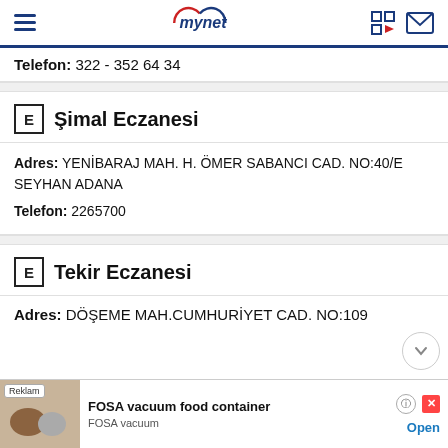mynet
Telefon: 322 - 352 64 34
E Şimal Eczanesi
Adres: YENİBARAJ MAH. H. ÖMER SABANCI CAD. NO:40/E SEYHAN ADANA
Telefon: 2265700
E Tekir Eczanesi
Adres: DÖŞEME MAH.CUMHURİYET CAD. NO:109
[Figure (other): Advertisement banner for FOSA vacuum food container by FOSA vacuum with Open button]